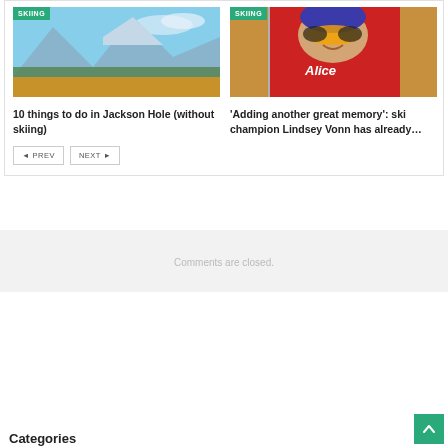[Figure (photo): Mountain landscape with snow-capped peaks, trees and golden fields — Jackson Hole photo with SKIING tag]
10 things to do in Jackson Hole (without skiing)
[Figure (photo): Ski champion Lindsey Vonn holding skis wearing red Alice bib, helmet and goggles — with SKIING tag]
'Adding another great memory': ski champion Lindsey Vonn has already…
Comments are closed.
Categories